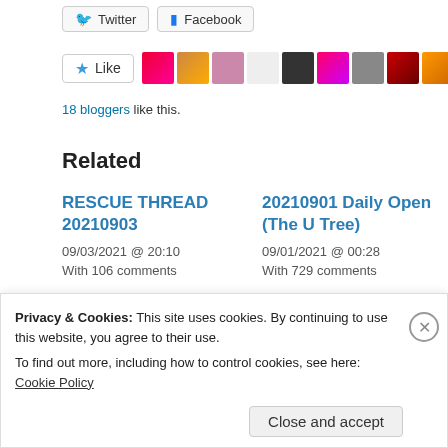[Figure (screenshot): Social share buttons for Twitter and Facebook]
[Figure (screenshot): Like button with star icon and blogger avatar strip showing 10 avatars]
18 bloggers like this.
Related
RESCUE THREAD 20210903
09/03/2021 @ 20:10
With 106 comments
20210901 Daily Open (The U Tree)
09/01/2021 @ 00:28
With 729 comments
Privacy & Cookies: This site uses cookies. By continuing to use this website, you agree to their use.
To find out more, including how to control cookies, see here: Cookie Policy